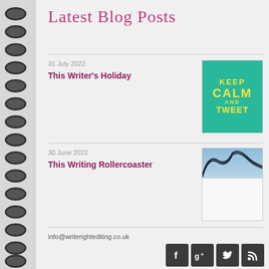Latest Blog Posts
31 July 2022
This Writer's Holiday
[Figure (illustration): Keep Calm and Tweet image with teal background and yellow text]
30 June 2022
This Writing Rollercoaster
[Figure (photo): Rollercoaster photo with sky background]
info@writerightediting.co.uk
[Figure (other): Social media icons: Facebook, Google+, Twitter, RSS feed]